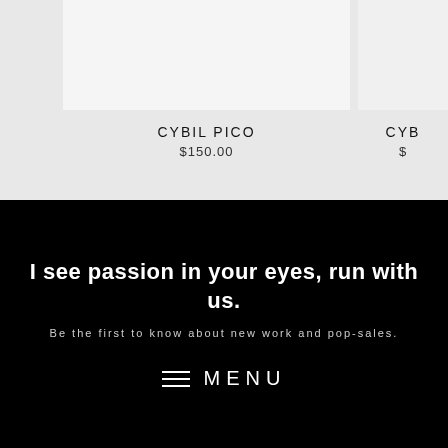[Figure (photo): Product image placeholder for Cybil Pico, light gray rectangle]
CYBIL PICO
$150.00
[Figure (photo): Partial product image on the right side, partially cropped]
CYB
$
I see passion in your eyes, run with us.
Be the first to know about new work and pop-sales.
MENU